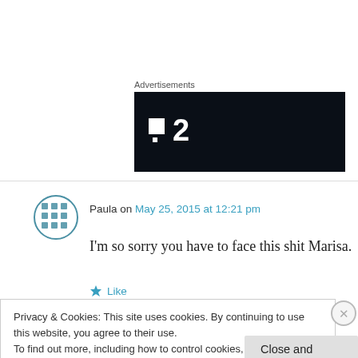Advertisements
[Figure (logo): Dark banner advertisement with a white logo showing two squares and the number 2]
Paula on May 25, 2015 at 12:21 pm
I'm so sorry you have to face this shit Marisa.
Like
Privacy & Cookies: This site uses cookies. By continuing to use this website, you agree to their use.
To find out more, including how to control cookies, see here: Cookie Policy
Close and accept